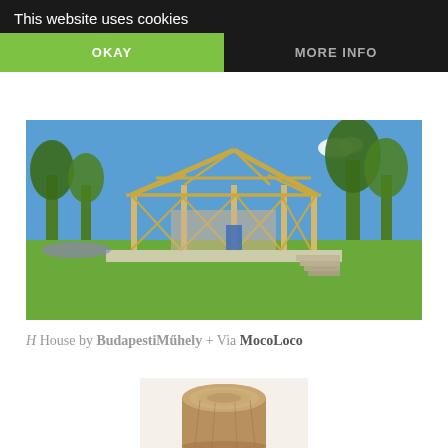This website uses cookies
Via and buy it on Wa.De.Be.
OKAY
MORE INFO
[Figure (photo): Photograph of the H House, a modern wooden structure with an exposed triangular timber roof frame, elevated on pillars, surrounded by green lawn and trees under a blue sky.]
H House by Budapesti Műhely + Via MocoLoco
[Figure (photo): Partial view of a wooden tree stump or sculptural wood object, cropped at bottom of page.]